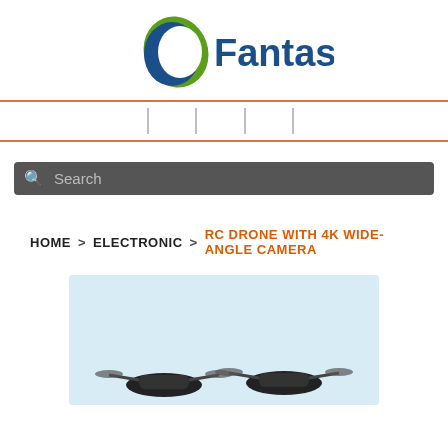[Figure (logo): Fantasy brand logo with blue crescent moon shape, green swirl, and bold blue text 'Fantasy']
[Figure (screenshot): Navigation bar with orange top and bottom borders and vertical pipe separators between menu items]
[Figure (screenshot): Dark gray search bar with magnifying glass icon and 'Search' placeholder text]
HOME > ELECTRONIC > RC DRONE WITH 4K WIDE-ANGLE CAMERA
[Figure (photo): RC drone product photo on light blue/white background showing two drones]